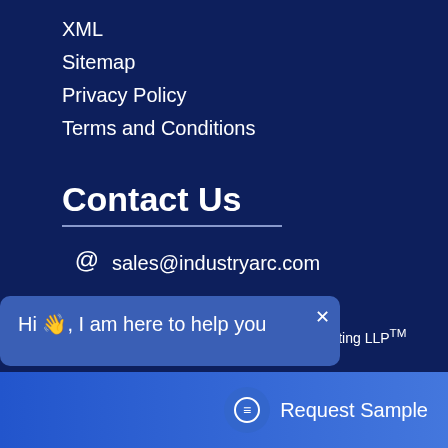XML
Sitemap
Privacy Policy
Terms and Conditions
Contact Us
sales@industryarc.com
+1970-236-3677
ights © Furion analytics Research & Consulting LLP™
Hi 👋, I am here to help you
Request Sample